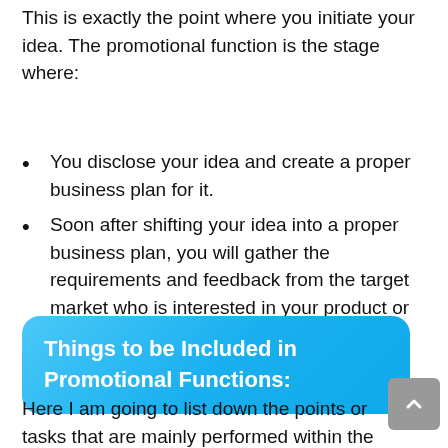This is exactly the point where you initiate your idea. The promotional function is the stage where:
You disclose your idea and create a proper business plan for it.
Soon after shifting your idea into a proper business plan, you will gather the requirements and feedback from the target market who is interested in your product or service.
Things to be Included in Promotional Functions:
Here I am going to list down the points or tasks that are mainly performed within the